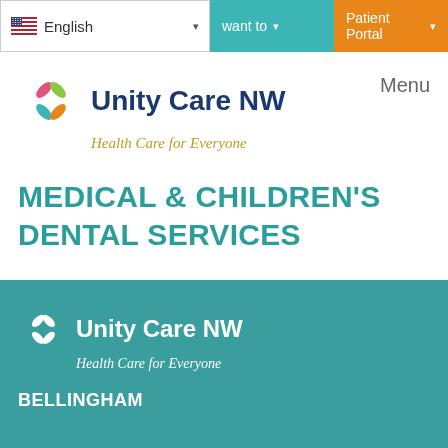English | want to | Patient Portal
[Figure (logo): Unity Care NW logo with colorful flower icon and tagline 'Health Care for Everyone']
Menu
MEDICAL & CHILDREN'S DENTAL SERVICES
[Figure (logo): Unity Care NW white logo on teal background with tagline 'Health Care for Everyone']
BELLINGHAM